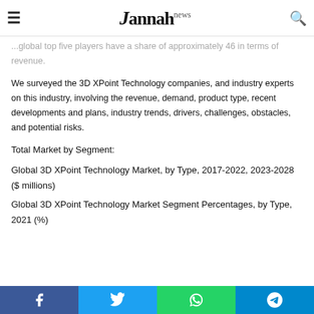Jannah news
...global top five players have a share of approximately 46 in terms of revenue.
We surveyed the 3D XPoint Technology companies, and industry experts on this industry, involving the revenue, demand, product type, recent developments and plans, industry trends, drivers, challenges, obstacles, and potential risks.
Total Market by Segment:
Global 3D XPoint Technology Market, by Type, 2017-2022, 2023-2028 ($ millions)
Global 3D XPoint Technology Market Segment Percentages, by Type, 2021 (%)